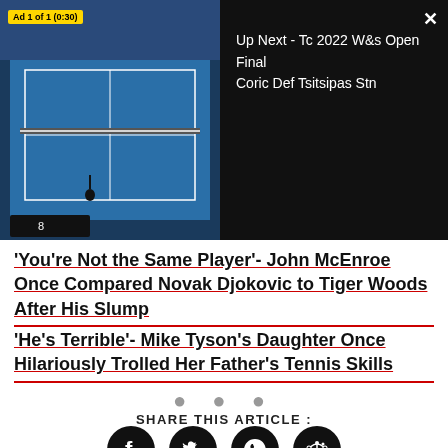[Figure (screenshot): Video player showing tennis court match. Ad badge top left reading 'Ad 1 of 1 (0:30)'. Right panel black with 'Up Next - Tc 2022 W&s Open Final Coric Def Tsitsipas Stn'. Close button X top right.]
'You're Not the Same Player'- John McEnroe Once Compared Novak Djokovic to Tiger Woods After His Slump
'He's Terrible'- Mike Tyson's Daughter Once Hilariously Trolled Her Father's Tennis Skills
• • •
SHARE THIS ARTICLE :
[Figure (infographic): Four social share icon circles: Facebook, Twitter, WhatsApp, Reddit]
ADVERTISEMENT